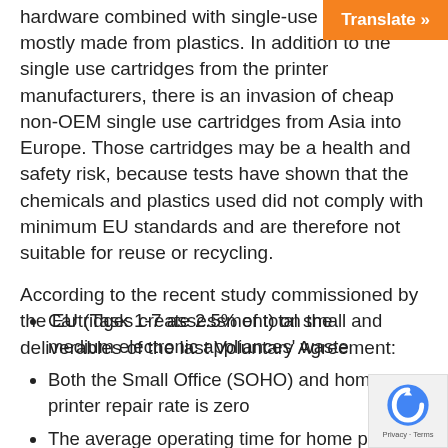hardware combined with single-use cartridges mostly made from plastics. In addition to the single use cartridges from the printer manufacturers, there is an invasion of cheap non-OEM single use cartridges from Asia into Europe. Those cartridges may be a health and safety risk, because tests have shown that the chemicals and plastics used did not comply with minimum EU standards and are therefore not suitable for reuse or recycling.
According to the recent study commissioned by the EU (Task 1-7 assessment) on the deliverables of the last Voluntary Agreement:
Cartridges create 2.5% of total small and medium electronic appliances' waste
Both the Small Office (SOHO) and home printer repair rate is zero
The average operating time for home printer